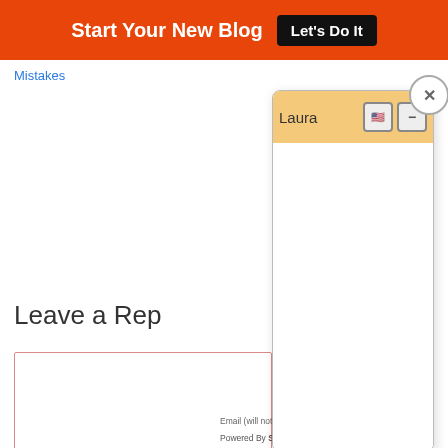[Figure (screenshot): Orange top banner with 'Start Your New Blog' text and 'Let's Do It' black button]
Mistakes
Leave a Rep
[Figure (screenshot): Chat/widget popup with orange header showing name 'Laura', US flag icon, minimize button, close X button, and empty white body area]
Email (will not be published) (required)
Powered By Steady Stream Leads